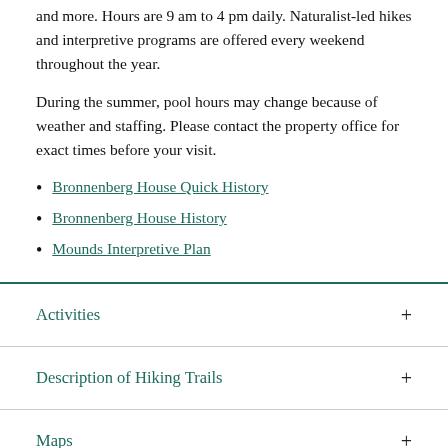and more. Hours are 9 am to 4 pm daily. Naturalist-led hikes and interpretive programs are offered every weekend throughout the year.
During the summer, pool hours may change because of weather and staffing. Please contact the property office for exact times before your visit.
Bronnenberg House Quick History
Bronnenberg House History
Mounds Interpretive Plan
Activities
Description of Hiking Trails
Maps